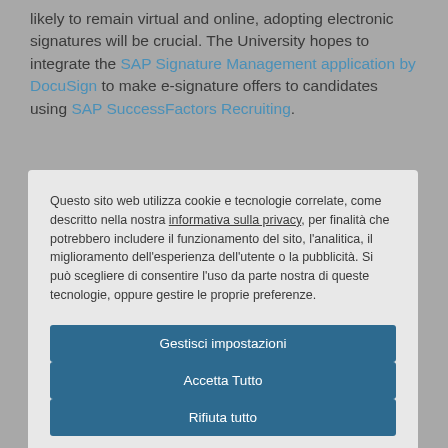likely to remain virtual and online, adopting electronic signatures will be crucial. The University hopes to integrate the SAP Signature Management application by DocuSign to make e-signature offers to candidates using SAP SuccessFactors Recruiting.
Questo sito web utilizza cookie e tecnologie correlate, come descritto nella nostra informativa sulla privacy, per finalità che potrebbero includere il funzionamento del sito, l'analitica, il miglioramento dell'esperienza dell'utente o la pubblicità. Si può scegliere di consentire l'uso da parte nostra di queste tecnologie, oppure gestire le proprie preferenze.
Gestisci impostazioni
Accetta Tutto
Rifiuta tutto
Informativa sui cookie